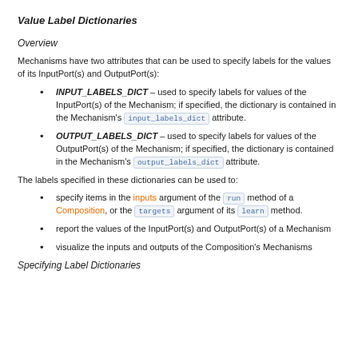Value Label Dictionaries
Overview
Mechanisms have two attributes that can be used to specify labels for the values of its InputPort(s) and OutputPort(s):
INPUT_LABELS_DICT – used to specify labels for values of the InputPort(s) of the Mechanism; if specified, the dictionary is contained in the Mechanism's input_labels_dict attribute.
OUTPUT_LABELS_DICT – used to specify labels for values of the OutputPort(s) of the Mechanism; if specified, the dictionary is contained in the Mechanism's output_labels_dict attribute.
The labels specified in these dictionaries can be used to:
specify items in the inputs argument of the run method of a Composition, or the targets argument of its learn method.
report the values of the InputPort(s) and OutputPort(s) of a Mechanism
visualize the inputs and outputs of the Composition's Mechanisms
Specifying Label Dictionaries